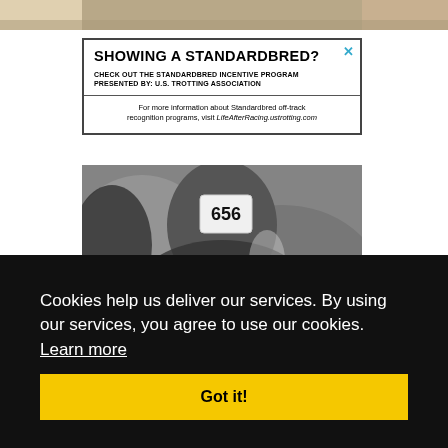[Figure (photo): Top partial photo strip showing what appears to be a sandy or earthy surface]
[Figure (infographic): Advertisement box: SHOWING A STANDARDBRED? CHECK OUT THE STANDARDBRED INCENTIVE PROGRAM PRESENTED BY: U.S. TROTTING ASSOCIATION. For more information about Standardbred off-track recognition programs, visit LifeAfterRacing.ustrotting.com]
[Figure (photo): Black and white photo of a horse and rider at a competition, showing a numbered bib (656) on the rider's back]
Cookies help us deliver our services. By using our services, you agree to use our cookies. Learn more
Got it!